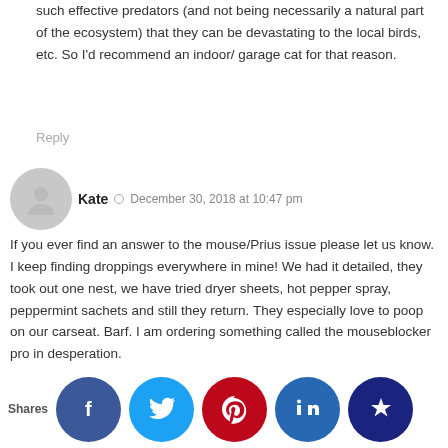such effective predators (and not being necessarily a natural part of the ecosystem) that they can be devastating to the local birds, etc. So I'd recommend an indoor/ garage cat for that reason.
Reply
Kate  •  December 30, 2018 at 10:47 pm
If you ever find an answer to the mouse/Prius issue please let us know. I keep finding droppings everywhere in mine! We had it detailed, they took out one nest, we have tried dryer sheets, hot pepper spray, peppermint sachets and still they return. They especially love to poop on our carseat. Barf. I am ordering something called the mouseblocker pro in desperation.
Reply
Mrs. Frugalwoods  •  December 31, 2018 at 10:27 am
Sadly we haven't found a permanent solution either. We keep two traps in the car at all times–one in the footwell of the front passenger seat and one in the footwell of the backseat. I'm very military about cleaning out kid snacks, etc so that's obviously a must. We good so often catching a mice and from yesterday morning one